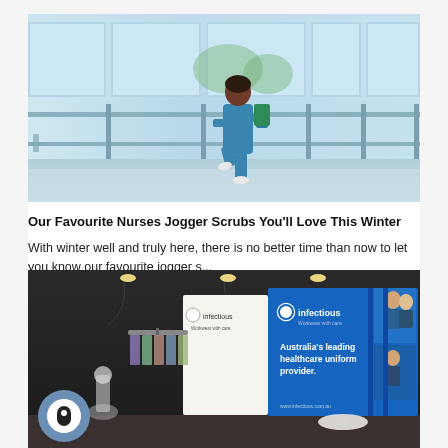[Figure (photo): Healthcare worker in blue scrubs walking through a bright modern hospital corridor with large glass windows]
Our Favourite Nurses Jogger Scrubs You'll Love This Winter
With winter well and truly here, there is no better time than now to let you know our favourite jogger s...
[Figure (photo): Infectious Workwear trade show booth display with blue banners showing Australia's leading healthcare uniform provider branding and healthcare staff images]